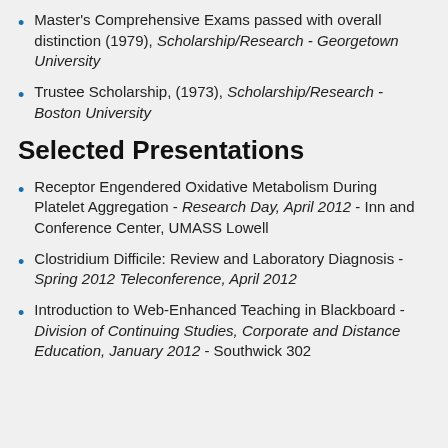Master's Comprehensive Exams passed with overall distinction (1979), Scholarship/Research - Georgetown University
Trustee Scholarship, (1973), Scholarship/Research - Boston University
Selected Presentations
Receptor Engendered Oxidative Metabolism During Platelet Aggregation - Research Day, April 2012 - Inn and Conference Center, UMASS Lowell
Clostridium Difficile: Review and Laboratory Diagnosis - Spring 2012 Teleconference, April 2012
Introduction to Web-Enhanced Teaching in Blackboard - Division of Continuing Studies, Corporate and Distance Education, January 2012 - Southwick 302